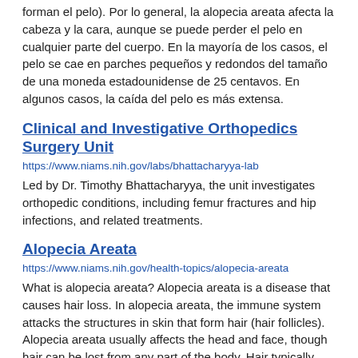forman el pelo). Por lo general, la alopecia areata afecta la cabeza y la cara, aunque se puede perder el pelo en cualquier parte del cuerpo. En la mayoría de los casos, el pelo se cae en parches pequeños y redondos del tamaño de una moneda estadounidense de 25 centavos. En algunos casos, la caída del pelo es más extensa.
Clinical and Investigative Orthopedics Surgery Unit
https://www.niams.nih.gov/labs/bhattacharyya-lab
Led by Dr. Timothy Bhattacharyya, the unit investigates orthopedic conditions, including femur fractures and hip infections, and related treatments.
Alopecia Areata
https://www.niams.nih.gov/health-topics/alopecia-areata
What is alopecia areata? Alopecia areata is a disease that causes hair loss. In alopecia areata, the immune system attacks the structures in skin that form hair (hair follicles). Alopecia areata usually affects the head and face, though hair can be lost from any part of the body. Hair typically falls out in small, round patches about the size of a quarter. In some cases, hair loss is more extensive.